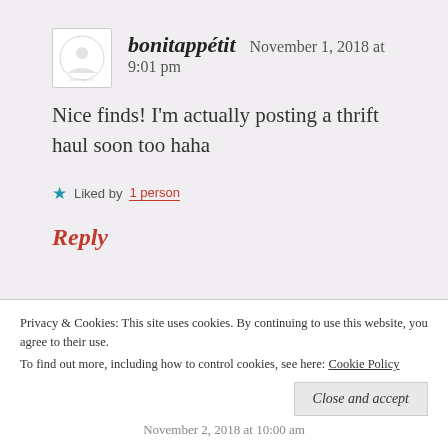bonitappétit   November 1, 2018 at 9:01 pm
Nice finds! I'm actually posting a thrift haul soon too haha
★ Liked by 1 person
Reply
Privacy & Cookies: This site uses cookies. By continuing to use this website, you agree to their use.
To find out more, including how to control cookies, see here: Cookie Policy
Close and accept
November 2, 2018 at 10:00 am